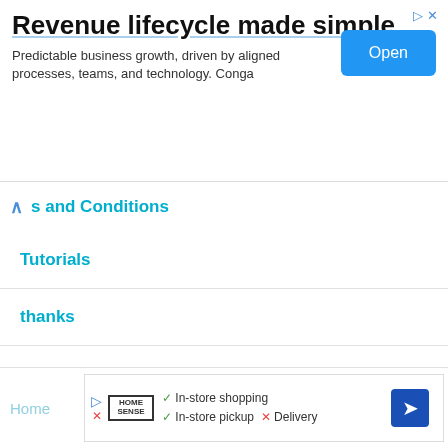[Figure (screenshot): Advertisement banner: 'Revenue lifecycle made simple' with Open button, from Conga]
s and Conditions
Tutorials
thanks
Thank You
Direct Payment
More relate posts
[Figure (screenshot): Footer advertisement: Home Sense store ad showing In-store shopping, In-store pickup checkmarks, and Delivery X mark, with navigation arrow icon]